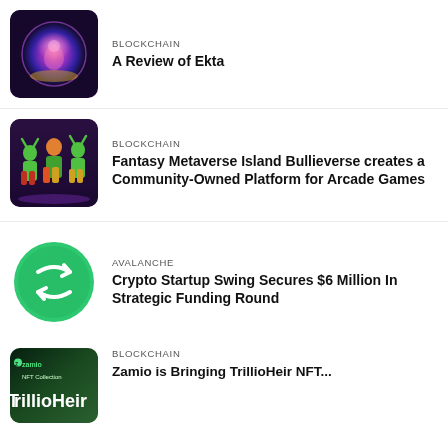[Figure (photo): Glowing pink/purple orb with fantasy game art thumbnail]
BLOCKCHAIN
A Review of Ekta
[Figure (photo): Fantasy game characters - green warriors in battle pose on dark purple background]
BLOCKCHAIN
Fantasy Metaverse Island Bullieverse creates a Community-Owned Platform for Arcade Games
[Figure (logo): Green circular logo with white arrows/swap icon for Swing cryptocurrency]
AVALANCHE
Crypto Startup Swing Secures $6 Million In Strategic Funding Round
[Figure (photo): Zamio NFT Collection - TrillioHeir banner with dark green background]
BLOCKCHAIN
Zamio is Bringing TrillioHeir NFT...